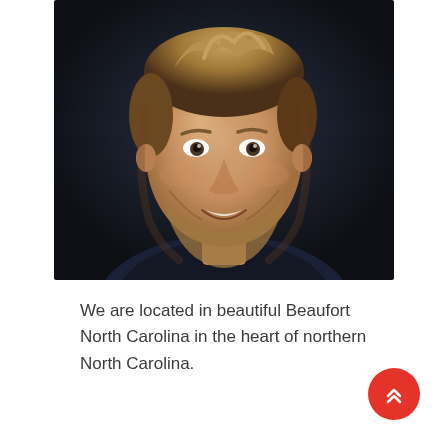[Figure (photo): Headshot portrait of a young smiling man with short light brown hair and a beard, wearing a dark jacket, against a dark background.]
We are located in beautiful Beaufort North Carolina in the heart of northern North Carolina.